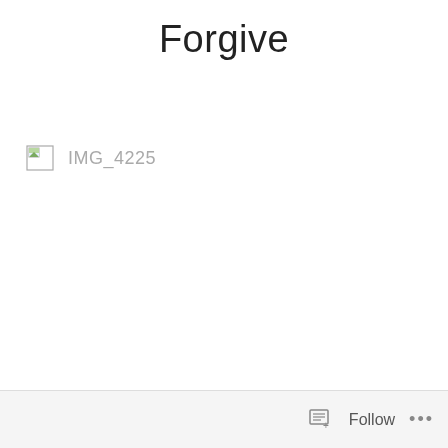Forgive
[Figure (photo): Broken image placeholder icon with label IMG_4225]
Follow ...